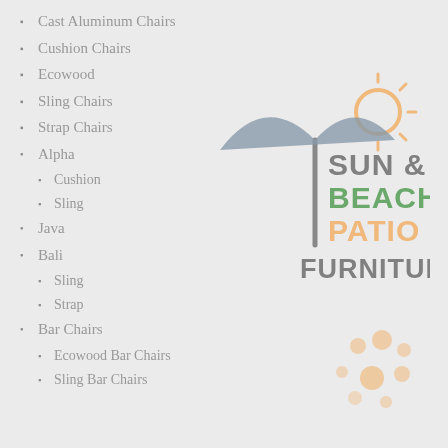Cast Aluminum Chairs
Cushion Chairs
Ecowood
Sling Chairs
Strap Chairs
Alpha
Cushion
Sling
Java
Bali
Sling
Strap
Bar Chairs
Ecowood Bar Chairs
Sling Bar Chairs
[Figure (logo): Sun & Beach Patio Furniture logo with umbrella and sun graphic]